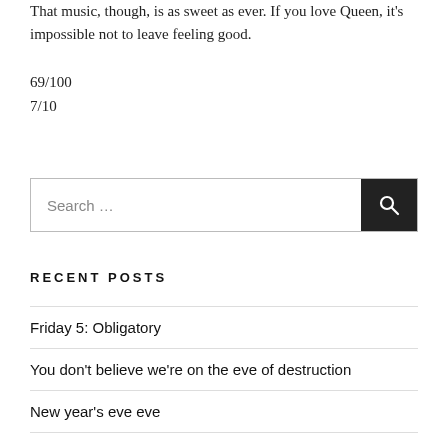That music, though, is as sweet as ever. If you love Queen, it's impossible not to leave feeling good.
69/100
7/10
[Figure (other): Search box with text 'Search ...' and a dark search button with magnifying glass icon]
RECENT POSTS
Friday 5: Obligatory
You don't believe we're on the eve of destruction
New year's eve eve